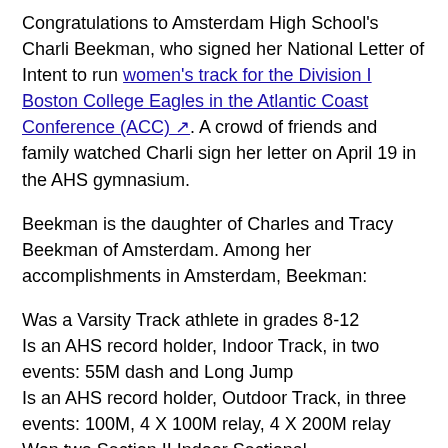Congratulations to Amsterdam High School's Charli Beekman, who signed her National Letter of Intent to run women's track for the Division I Boston College Eagles in the Atlantic Coast Conference (ACC). A crowd of friends and family watched Charli sign her letter on April 19 in the AHS gymnasium.
Beekman is the daughter of Charles and Tracy Beekman of Amsterdam. Among her accomplishments in Amsterdam, Beekman:
Was a Varsity Track athlete in grades 8-12
Is an AHS record holder, Indoor Track, in two events: 55M dash and Long Jump
Is an AHS record holder, Outdoor Track, in three events: 100M, 4 X 100M relay, 4 X 200M relay
Won two Section II Indoor Sectional Championships in the 55M
Is sixth on the Section II All-Time Indoor Leaderboard in the 55M with a time of 7:25
Participated in the New Balance Indoor Nationals 1X